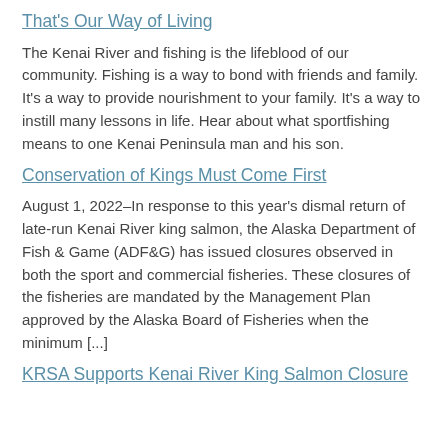That's Our Way of Living
The Kenai River and fishing is the lifeblood of our community. Fishing is a way to bond with friends and family. It's a way to provide nourishment to your family. It's a way to instill many lessons in life. Hear about what sportfishing means to one Kenai Peninsula man and his son.
Conservation of Kings Must Come First
August 1, 2022–In response to this year's dismal return of late-run Kenai River king salmon, the Alaska Department of Fish & Game (ADF&G) has issued closures observed in both the sport and commercial fisheries. These closures of the fisheries are mandated by the Management Plan approved by the Alaska Board of Fisheries when the minimum [...]
KRSA Supports Kenai River King Salmon Closure